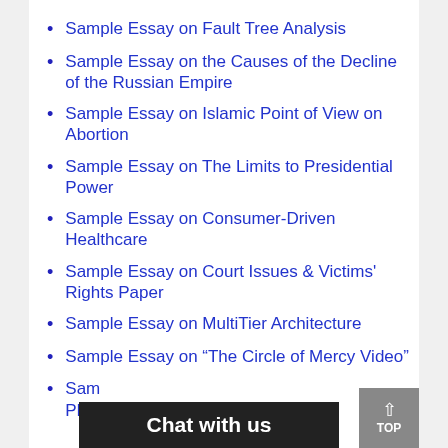Sample Essay on Fault Tree Analysis
Sample Essay on the Causes of the Decline of the Russian Empire
Sample Essay on Islamic Point of View on Abortion
Sample Essay on The Limits to Presidential Power
Sample Essay on Consumer-Driven Healthcare
Sample Essay on Court Issues & Victims' Rights Paper
Sample Essay on MultiTier Architecture
Sample Essay on “The Circle of Mercy Video”
Sam... Pla...